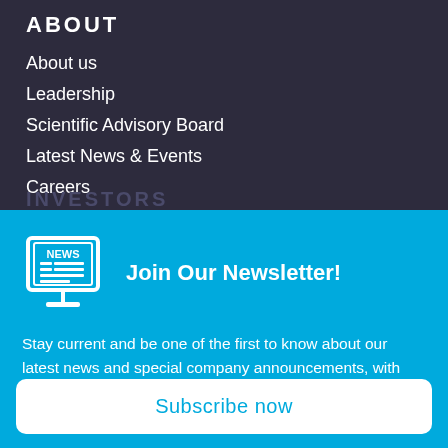ABOUT
About us
Leadership
Scientific Advisory Board
Latest News & Events
Careers
[Figure (screenshot): Newsletter popup panel with news icon, title 'Join Our Newsletter!', descriptive text, and Subscribe now button on cyan background]
Join Our Newsletter!
Stay current and be one of the first to know about our latest news and special company announcements, with updates sent directly to you!
Subscribe now